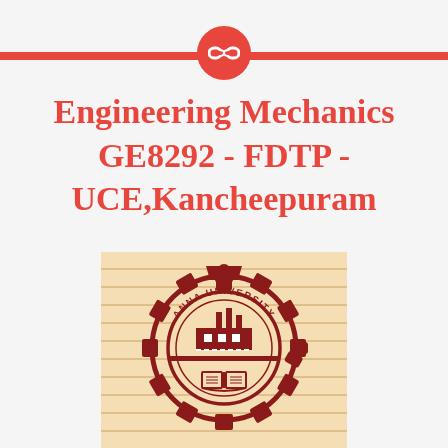Engineering Mechanics GE8292 - FDTP - UCE,Kancheepuram
Engineering Mechanics GE8292 - FDTP - UCE,Kancheepuram
[Figure (logo): Anna University logo on notebook paper background — gear/cogwheel with human figures, factory/industrial building inside circle, book at bottom, 'ANNA UNIVERSITY' text arched at top]